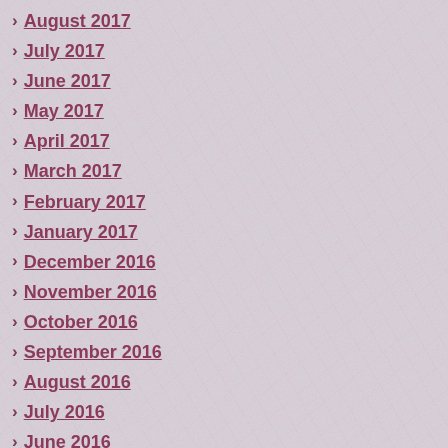August 2017
July 2017
June 2017
May 2017
April 2017
March 2017
February 2017
January 2017
December 2016
November 2016
October 2016
September 2016
August 2016
July 2016
June 2016
May 2016
April 2016
March 2016
February 2016
January 2016
December 2015